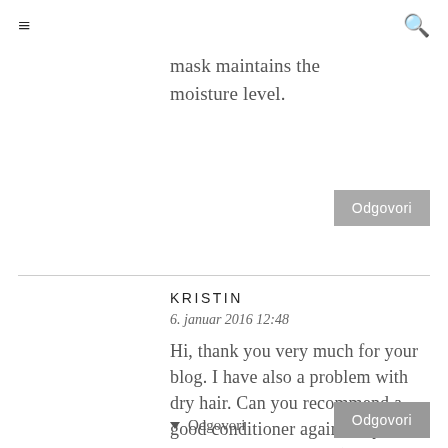≡  🔍
mask maintains the moisture level.
Odgovori
KRISTIN
6. januar 2016 12:48
Hi, thank you very much for your blog. I have also a problem with dry hair. Can you recommend a good conditioner against dry hair? Thank you very much :)
Odgovori
Odgovori